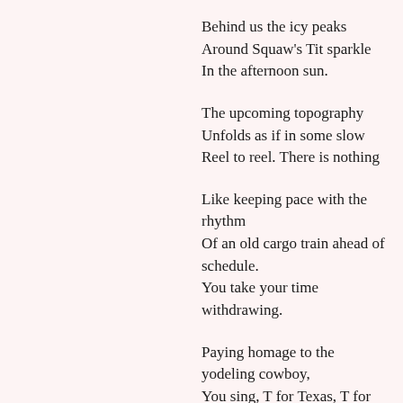Behind us the icy peaks
Around Squaw's Tit sparkle
In the afternoon sun.
The upcoming topography
Unfolds as if in some slow
Reel to reel. There is nothing
Like keeping pace with the rhythm
Of an old cargo train ahead of schedule.
You take your time withdrawing.
Paying homage to the yodeling cowboy,
You sing, T for Texas, T for Tennessee,
And T for Tania, the gal who made a fool out of thee.